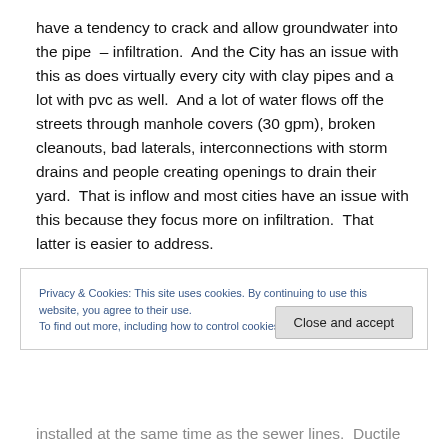have a tendency to crack and allow groundwater into the pipe – infiltration. And the City has an issue with this as does virtually every city with clay pipes and a lot with pvc as well. And a lot of water flows off the streets through manhole covers (30 gpm), broken cleanouts, bad laterals, interconnections with storm drains and people creating openings to drain their yard. That is inflow and most cities have an issue with this because they focus more on infiltration. That latter is easier to address.
Privacy & Cookies: This site uses cookies. By continuing to use this website, you agree to their use. To find out more, including how to control cookies, see here: Cookie Policy
installed at the same time as the sewer lines.  Ductile iron